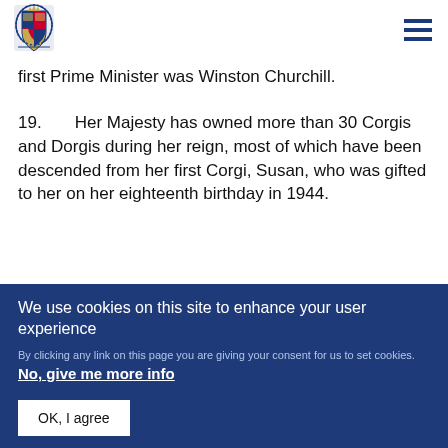[UK Government coat of arms logo] [hamburger menu]
first Prime Minister was Winston Churchill.
19.      Her Majesty has owned more than 30 Corgis and Dorgis during her reign, most of which have been descended from her first Corgi, Susan, who was gifted to her on her eighteenth birthday in 1944.
We use cookies on this site to enhance your user experience
By clicking any link on this page you are giving your consent for us to set cookies. No, give me more info
OK, I agree